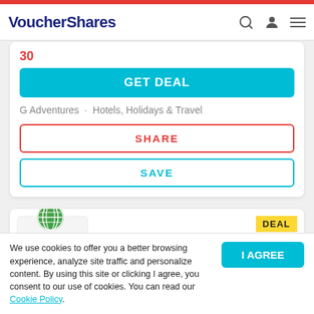VoucherShares
30
GET DEAL
G Adventures · Hotels, Holidays & Travel
SHARE
SAVE
DEAL
G Adventures Sale! Up to 25% OFF on more then 200 selected tours
We use cookies to offer you a better browsing experience, analyze site traffic and personalize content. By using this site or clicking I agree, you consent to our use of cookies. You can read our Cookie Policy.